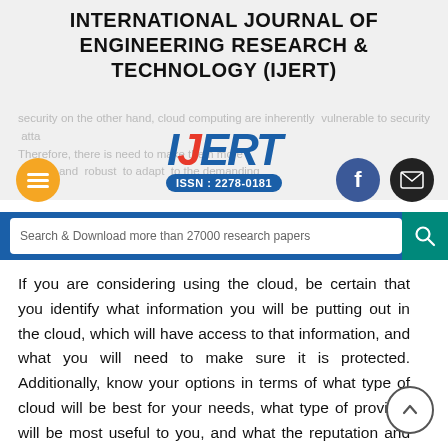INTERNATIONAL JOURNAL OF ENGINEERING RESEARCH & TECHNOLOGY (IJERT)
security on the other hand, cloud computing are inherently vulnerable to security attacks. Therefore, there is need to make them more secure and robust to adapt to the demanding
[Figure (logo): IJERT logo with ISSN: 2278-0181]
Search & Download more than 27000 research papers
If you are considering using the cloud, be certain that you identify what information you will be putting out in the cloud, which will have access to that information, and what you will need to make sure it is protected. Additionally, know your options in terms of what type of cloud will be best for your needs, what type of provider will be most useful to you, and what the reputation and responsibilities of the providers you are